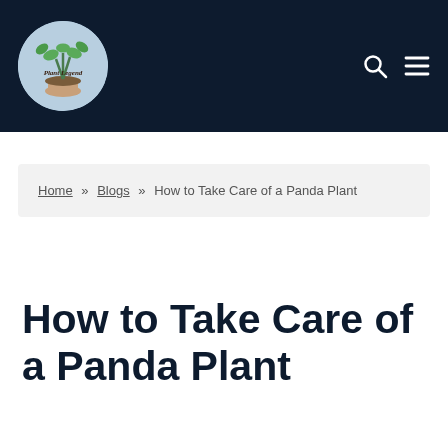[Figure (logo): Plant Legend logo: circular badge with light blue background, green plant illustration, and cursive 'Plant Legend' text]
Plant Legend — navigation header with search and menu icons
Home » Blogs » How to Take Care of a Panda Plant
How to Take Care of a Panda Plant